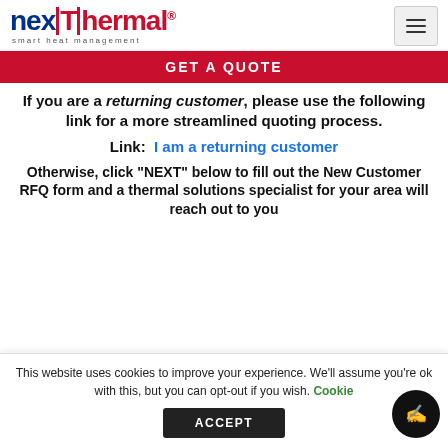[Figure (logo): Nexthermal logo with 'nex' in blue and 'thermal' in red, registered trademark, tagline 'smart heat management']
GET A QUOTE
If you are a returning customer, please use the following link for a more streamlined quoting process.
Link:  I am a returning customer
Otherwise, click "NEXT" below to fill out the New Customer RFQ form and a thermal solutions specialist for your area will reach out to you
This website uses cookies to improve your experience. We'll assume you're ok with this, but you can opt-out if you wish. Cookie
ACCEPT